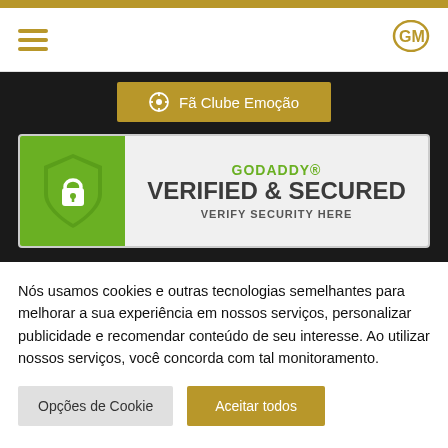Navigation bar with hamburger menu and GM logo
[Figure (screenshot): GoDaddy Verified & Secured badge with green shield and padlock icon]
Nós usamos cookies e outras tecnologias semelhantes para melhorar a sua experiência em nossos serviços, personalizar publicidade e recomendar conteúdo de seu interesse. Ao utilizar nossos serviços, você concorda com tal monitoramento.
Opções de Cookie | Aceitar todos